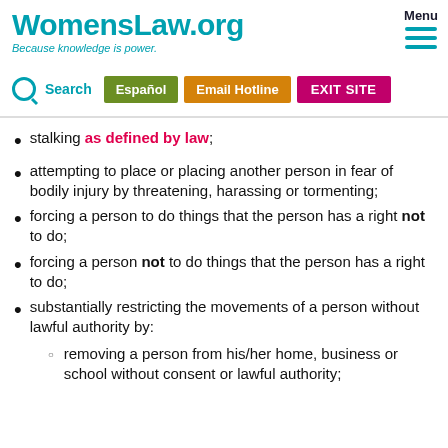WomensLaw.org — Because knowledge is power. Menu | Search | Español | Email Hotline | EXIT SITE
stalking as defined by law;
attempting to place or placing another person in fear of bodily injury by threatening, harassing or tormenting;
forcing a person to do things that the person has a right not to do;
forcing a person not to do things that the person has a right to do;
substantially restricting the movements of a person without lawful authority by: removing a person from his/her home, business or school without consent or lawful authority;